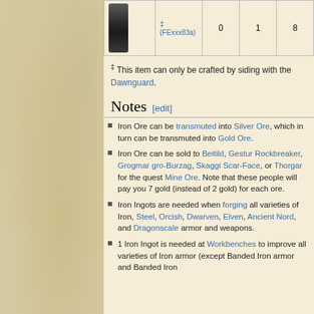| Item | Code | 0 | 1 | 8 |
| --- | --- | --- | --- | --- |
| [image] ‡ (FExxx83a) |  | 0 | 1 | 8 |
‡ This item can only be crafted by siding with the Dawnguard.
Notes [edit]
Iron Ore can be transmuted into Silver Ore, which in turn can be transmuted into Gold Ore.
Iron Ore can be sold to Beitild, Gestur Rockbreaker, Grogmar gro-Burzag, Skaggi Scar-Face, or Thorgar for the quest Mine Ore. Note that these people will pay you 7 gold (instead of 2 gold) for each ore.
Iron Ingots are needed when forging all varieties of Iron, Steel, Orcish, Dwarven, Elven, Ancient Nord, and Dragonscale armor and weapons.
1 Iron Ingot is needed at Workbenches to improve all varieties of Iron armor (except Banded Iron armor and Banded Iron